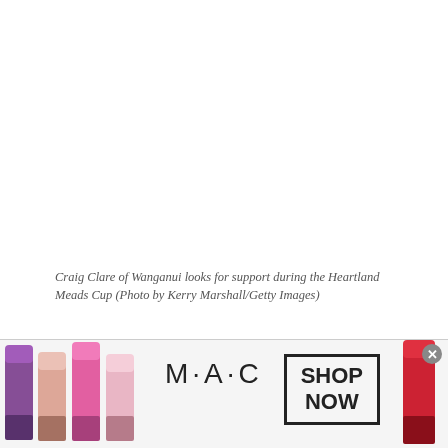Craig Clare of Wanganui looks for support during the Heartland Meads Cup (Photo by Kerry Marshall/Getty Images)
Reigning champions, the ‘Butcher Boys’ from the banks of the Whanganui River are going in as clear favourites. They deserved to: won all eight games played, 420 points for, 136 against. The standings do not lie, and reflect a dominance that has only been question on rare occasion.
[Figure (photo): Advertisement banner for MAC cosmetics featuring lipsticks on left and right sides, MAC logo in center, and a SHOP NOW button in a box. A close (x) button appears at top right.]